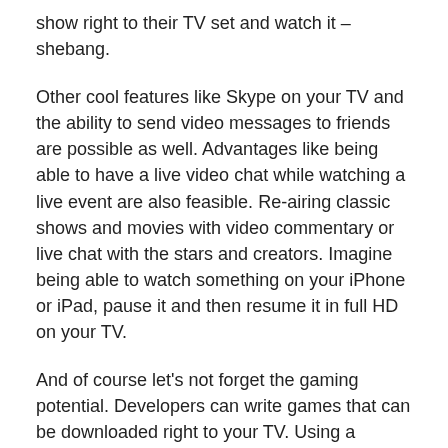show right to their TV set and watch it – shebang.
Other cool features like Skype on your TV and the ability to send video messages to friends are possible as well. Advantages like being able to have a live video chat while watching a live event are also feasible. Re-airing classic shows and movies with video commentary or live chat with the stars and creators. Imagine being able to watch something on your iPhone or iPad, pause it and then resume it in full HD on your TV.
And of course let's not forget the gaming potential. Developers can write games that can be downloaded right to your TV. Using a bluetooth or WiFi connection you can use your iPod as a touch screen controller. You can use voice activation to command the action. You can use your existing Apple game center profile to connect with friends and play co-op games. Oops! Did Apple just